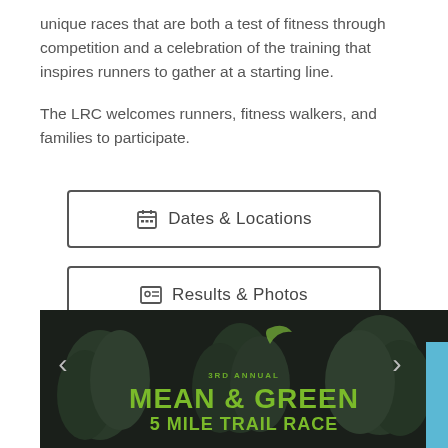unique races that are both a test of fitness through competition and a celebration of the training that inspires runners to gather at a starting line.
The LRC welcomes runners, fitness walkers, and families to participate.
📅 Dates & Locations
🪪 Results & Photos
[Figure (photo): Dark background race poster showing 'MEAN & GREEN 5 MILE TRAIL RACE' in green text with illustrated trees. Slide navigation arrows on left and right.]